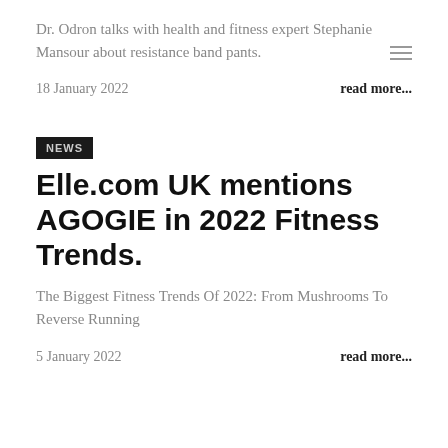Dr. Odron talks with health and fitness expert Stephanie Mansour about resistance band pants.
18 January 2022
read more...
NEWS
Elle.com UK mentions AGOGIE in 2022 Fitness Trends.
The Biggest Fitness Trends Of 2022: From Mushrooms To Reverse Running
5 January 2022
read more...